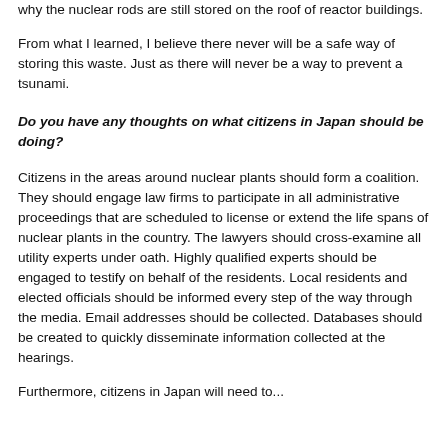why the nuclear rods are still stored on the roof of reactor buildings.
From what I learned, I believe there never will be a safe way of storing this waste. Just as there will never be a way to prevent a tsunami.
Do you have any thoughts on what citizens in Japan should be doing?
Citizens in the areas around nuclear plants should form a coalition. They should engage law firms to participate in all administrative proceedings that are scheduled to license or extend the life spans of nuclear plants in the country. The lawyers should cross-examine all utility experts under oath. Highly qualified experts should be engaged to testify on behalf of the residents. Local residents and elected officials should be informed every step of the way through the media. Email addresses should be collected. Databases should be created to quickly disseminate information collected at the hearings.
Furthermore, citizens in Japan will need to...